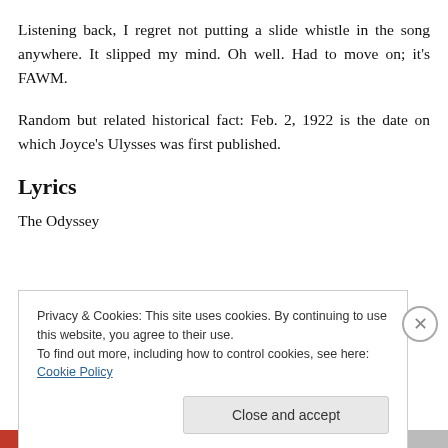Listening back, I regret not putting a slide whistle in the song anywhere. It slipped my mind. Oh well. Had to move on; it's FAWM.
Random but related historical fact: Feb. 2, 1922 is the date on which Joyce's Ulysses was first published.
Lyrics
The Odyssey
Privacy & Cookies: This site uses cookies. By continuing to use this website, you agree to their use.
To find out more, including how to control cookies, see here: Cookie Policy